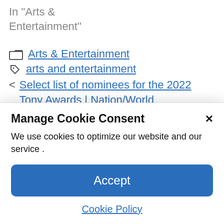In "Arts & Entertainment"
Arts & Entertainment
arts and entertainment
< Select list of nominees for the 2022 Tony Awards | Nation/World
> Top Country Music Artist the Year You Graduated from High School | Culture &
Manage Cookie Consent
We use cookies to optimize our website and our service .
Accept
Cookie Policy